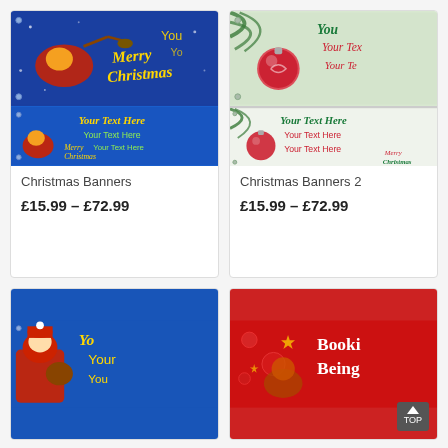[Figure (photo): Christmas Banners product listing - blue banner with Santa and reindeer showing 'Merry Christmas', two stacked banner images]
Christmas Banners
£15.99 – £72.99
[Figure (photo): Christmas Banners 2 product listing - white banner with Christmas ornament and 'Your Text Here' placeholder text]
Christmas Banners 2
£15.99 – £72.99
[Figure (photo): Partial view of blue Christmas banner with Santa and 'Your' text visible]
[Figure (photo): Partial view of red Christmas booking banner]